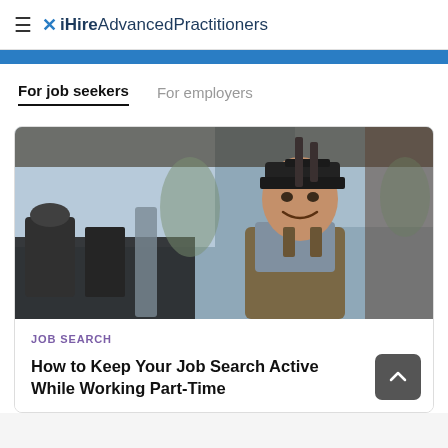≡ ✕ iHire AdvancedPractitioners
For job seekers   For employers
[Figure (photo): Young male barista in apron and backwards cap smiling at camera behind a cafe counter with coffee equipment]
JOB SEARCH
How to Keep Your Job Search Active While Working Part-Time